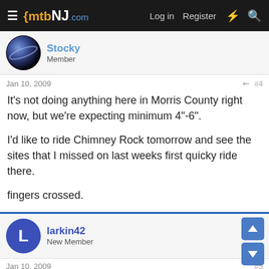mtbNJ.com — Log in  Register
Stocky
Member
Jan 10, 2009  #4
It's not doing anything here in Morris County right now, but we're expecting minimum 4"-6".

I'd like to ride Chimney Rock tomorrow and see the sites that I missed on last weeks first quicky ride there.

fingers crossed.
larkin42
New Member
Jan 10, 2009  #5
5 Miles from Hartstone and we have nothing. A random snow